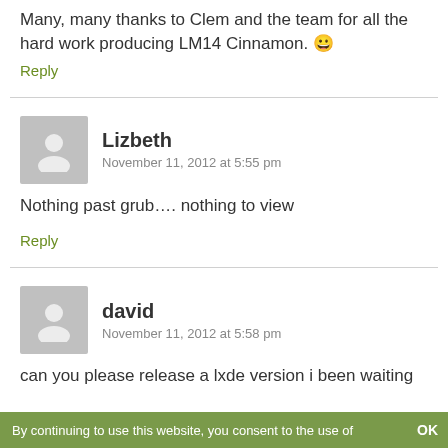Many, many thanks to Clem and the team for all the hard work producing LM14 Cinnamon. 😀
Reply
Lizbeth
November 11, 2012 at 5:55 pm
Nothing past grub…. nothing to view
Reply
david
November 11, 2012 at 5:58 pm
can you please release a lxde version i been waiting
By continuing to use this website, you consent to the use of   OK